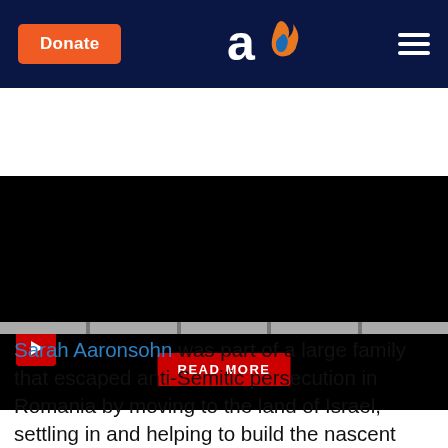Donate | [Aish logo] | [Menu]
[Figure (screenshot): Dark video player area with red play button in top-left, close X in top-right, and a red READ MORE button centered near bottom]
Sarah Aaronsohn was part of a large family that escaped anti-Semitic persecution in Romania by moving to the land of Israel, settling in and helping to build the nascent Jewish town of Zichron Yaakov in Israel's north. Sarah was born there in 1890, and grew up cultured and educated, fluent in several languages; she was also an accomplished rider and a skilled shooter. Her older brother Aaron became one of the world's foremost agronomists, and Sarah often